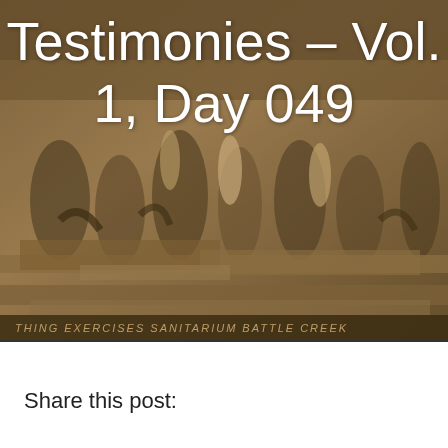[Figure (photo): Sepia-toned historical photograph showing a large group of people doing outdoor exercises at a sanitarium in Battle Creek. People are bending and stretching on long tables/platforms. Text at the bottom reads 'THING EXERCISES SANITARIUM BATTLE CREEK'.]
Testimonies – Vol. 1, Day 049
Share this post: